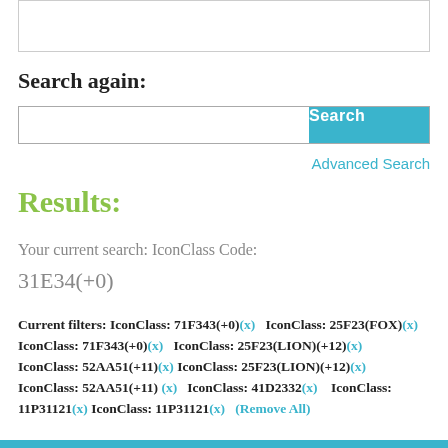[Figure (screenshot): Top partial white box with border, cropped search interface element]
Search again:
[Figure (screenshot): Search input bar with white text field and cyan/teal 'Search' button]
Advanced Search
Results:
Your current search: IconClass Code: 31E34(+0)
Current filters: IconClass: 71F343(+0)(x)   IconClass: 25F23(FOX)(x)   IconClass: 71F343(+0)(x)   IconClass: 25F23(LION)(+12)(x)   IconClass: 52AA51(+11)(x)   IconClass: 25F23(LION)(+12)(x)   IconClass: 52AA51(+11)(x)   IconClass: 41D2332(x)   IconClass: 11P31121(x)   IconClass: 11P31121(x)   (Remove All)